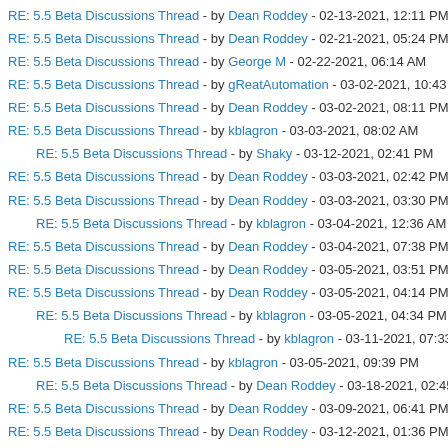RE: 5.5 Beta Discussions Thread - by Dean Roddey - 02-13-2021, 12:11 PM
RE: 5.5 Beta Discussions Thread - by Dean Roddey - 02-21-2021, 05:24 PM
RE: 5.5 Beta Discussions Thread - by George M - 02-22-2021, 06:14 AM
RE: 5.5 Beta Discussions Thread - by gReatAutomation - 03-02-2021, 10:43 AM
RE: 5.5 Beta Discussions Thread - by Dean Roddey - 03-02-2021, 08:11 PM
RE: 5.5 Beta Discussions Thread - by kblagron - 03-03-2021, 08:02 AM
RE: 5.5 Beta Discussions Thread - by Shaky - 03-12-2021, 02:41 PM
RE: 5.5 Beta Discussions Thread - by Dean Roddey - 03-03-2021, 02:42 PM
RE: 5.5 Beta Discussions Thread - by Dean Roddey - 03-03-2021, 03:30 PM
RE: 5.5 Beta Discussions Thread - by kblagron - 03-04-2021, 12:36 AM
RE: 5.5 Beta Discussions Thread - by Dean Roddey - 03-04-2021, 07:38 PM
RE: 5.5 Beta Discussions Thread - by Dean Roddey - 03-05-2021, 03:51 PM
RE: 5.5 Beta Discussions Thread - by Dean Roddey - 03-05-2021, 04:14 PM
RE: 5.5 Beta Discussions Thread - by kblagron - 03-05-2021, 04:34 PM
RE: 5.5 Beta Discussions Thread - by kblagron - 03-11-2021, 07:33 PM
RE: 5.5 Beta Discussions Thread - by kblagron - 03-05-2021, 09:39 PM
RE: 5.5 Beta Discussions Thread - by Dean Roddey - 03-18-2021, 02:45 PM
RE: 5.5 Beta Discussions Thread - by Dean Roddey - 03-09-2021, 06:41 PM
RE: 5.5 Beta Discussions Thread - by Dean Roddey - 03-12-2021, 01:36 PM
RE: 5.5 Beta Discussions Thread - by Shaky - 03-12-2021, 03:29 PM
RE: 5.5 Beta Discussions Thread - by Dean Roddey - 03-13-2021, 01:24 PM
RE: 5.5 Beta Discussions Thread - by kblagron - 03-13-2021, 08:02 PM
RE: 5.5 Beta Discussions Thread - by Shaky - 03-13-2021, 05:29 PM
RE: 5.5 Beta Discussions Thread - by Dean Roddey - 03-15-2021, 04:20 PM
RE: 5.5 Beta Discussions Thread - by George M - 03-22-2021, 05:26 AM